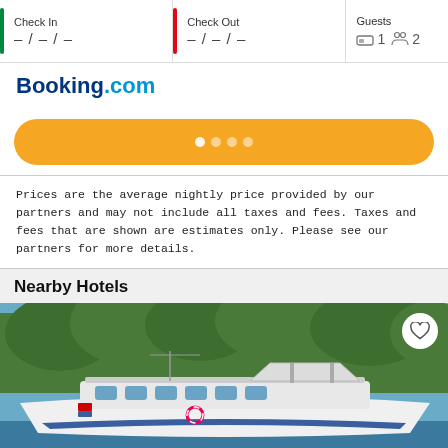[Figure (screenshot): Check In / Check Out / Guests booking widget with date fields showing –/–/– and guests showing bed icon 1, people icon 2]
Booking.com
[Figure (other): Yellow rounded button with loading dots (4 dots)]
Prices are the average nightly price provided by our partners and may not include all taxes and fees. Taxes and fees that are shown are estimates only. Please see our partners for more details.
Nearby Hotels
[Figure (photo): A large white yacht/boat docked near trees with a covered canopy structure on the deck. A heart/favorite button is visible in the top-right corner.]